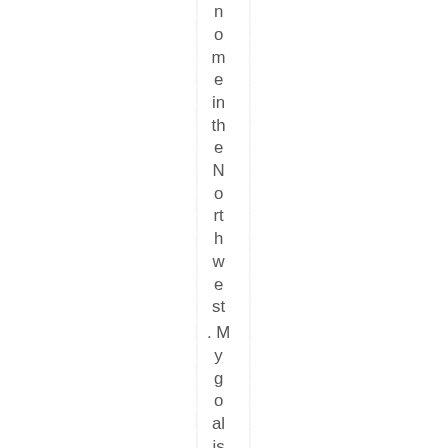home in the Northwest. My goal is to go b